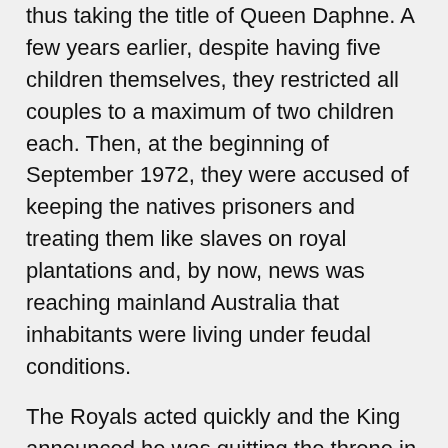thus taking the title of Queen Daphne. A few years earlier, despite having five children themselves, they restricted all couples to a maximum of two children each. Then, at the beginning of September 1972, they were accused of keeping the natives prisoners and treating them like slaves on royal plantations and, by now, news was reaching mainland Australia that inhabitants were living under feudal conditions.
The Royals acted quickly and the King announced he was quitting the throne in an abdication statement to the Australian Government. Where would they go? That was the question. They weren't heading for England, that was for sure. When asked, Daphne's mother Mrs Gwendolyn Parkinson of Palace House, Padiham Road, Burnley, said: “I don’t think they will be coming to Burnley.” The Queen Mum added: “It takes two weeks for letters to reach us from the Cocos Islands, and at this stage it is much too